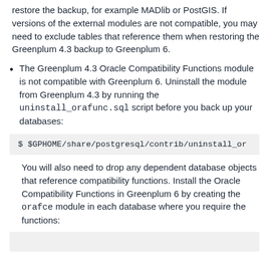restore the backup, for example MADlib or PostGIS. If versions of the external modules are not compatible, you may need to exclude tables that reference them when restoring the Greenplum 4.3 backup to Greenplum 6.
The Greenplum 4.3 Oracle Compatibility Functions module is not compatible with Greenplum 6. Uninstall the module from Greenplum 4.3 by running the uninstall_orafunc.sql script before you back up your databases:
$ $GPHOME/share/postgresql/contrib/uninstall_or...
You will also need to drop any dependent database objects that reference compatibility functions. Install the Oracle Compatibility Functions in Greenplum 6 by creating the orafce module in each database where you require the functions:
$ ...